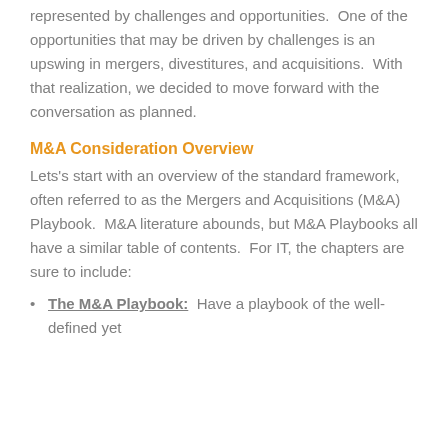represented by challenges and opportunities.  One of the opportunities that may be driven by challenges is an upswing in mergers, divestitures, and acquisitions.  With that realization, we decided to move forward with the conversation as planned.
M&A Consideration Overview
Lets's start with an overview of the standard framework, often referred to as the Mergers and Acquisitions (M&A) Playbook.  M&A literature abounds, but M&A Playbooks all have a similar table of contents.  For IT, the chapters are sure to include:
The M&A Playbook:  Have a playbook of the well-defined yet